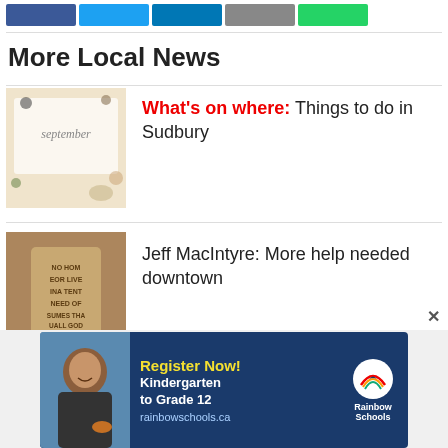[Figure (other): Social media share buttons: Facebook (blue), Twitter (light blue), LinkedIn (dark blue), Email (grey), WhatsApp (green)]
More Local News
[Figure (photo): Flat lay photo of September calendar with autumn leaves and decorative items]
What's on where: Things to do in Sudbury
[Figure (photo): Person holding a protest sign with text about homelessness]
Jeff MacIntyre: More help needed downtown
[Figure (other): Rainbow Schools advertisement: Register Now! Kindergarten to Grade 12 rainbowschools.ca, showing a child smiling]